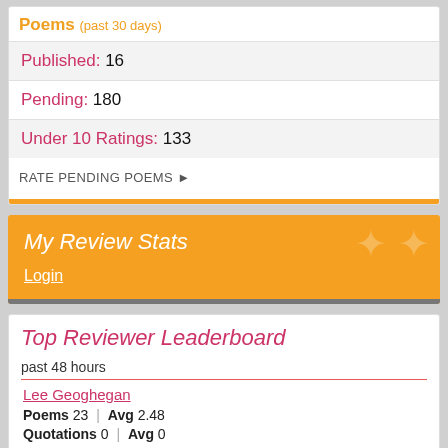Poems (past 30 days)
Published: 16
Pending: 180
Under 10 Ratings: 133
RATE PENDING POEMS ►
My Review Stats
Login
Top Reviewer Leaderboard
past 48 hours
Lee Geoghegan
Poems 23  |  Avg 2.48
Quotations 0  |  Avg 0